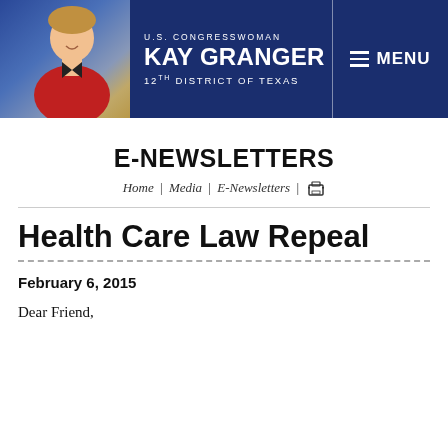[Figure (photo): Banner header for U.S. Congresswoman Kay Granger, 12th District of Texas, with photo of the congresswoman on the left and a MENU button on the right, on a dark navy blue background.]
E-NEWSLETTERS
Home | Media | E-Newsletters | [print icon]
Health Care Law Repeal
February 6, 2015
Dear Friend,